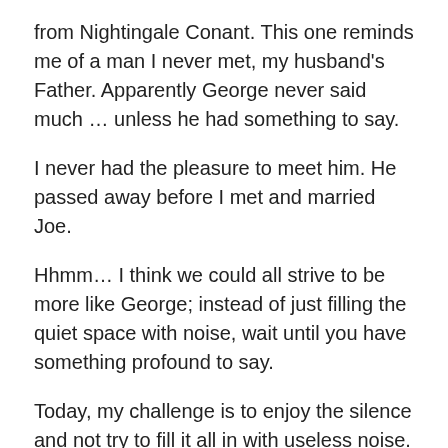from Nightingale Conant. This one reminds me of a man I never met, my husband's Father. Apparently George never said much … unless he had something to say.
I never had the pleasure to meet him. He passed away before I met and married Joe.
Hhmm… I think we could all strive to be more like George; instead of just filling the quiet space with noise, wait until you have something profound to say.
Today, my challenge is to enjoy the silence and not try to fill it all in with useless noise.
Enjoy the beautiful day,
🙂  Karin